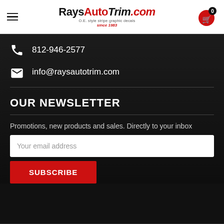RaysAutoTrim.com – O.E. style stripe graphic decals since 1983
812-946-2577
info@raysautotrim.com
OUR NEWSLETTER
Promotions, new products and sales. Directly to your inbox
Your email address
SUBSCRIBE